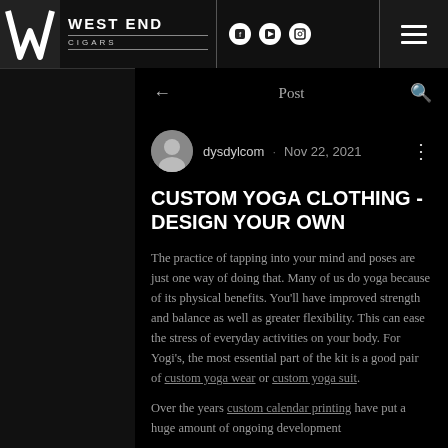West End Cigars — Facebook · YouTube · Instagram
← Post 🔍
dysdylcom · Nov 22, 2021
CUSTOM YOGA CLOTHING - DESIGN YOUR OWN
The practice of tapping into your mind and poses are just one way of doing that. Many of us do yoga because of its physical benefits. You'll have improved strength and balance as well as greater flexibility. This can ease the stress of everyday activities on your body. For Yogi's, the most essential part of the kit is a good pair of custom yoga wear or custom yoga suit.
Over the years custom calendar printing have put a huge amount of ongoing development